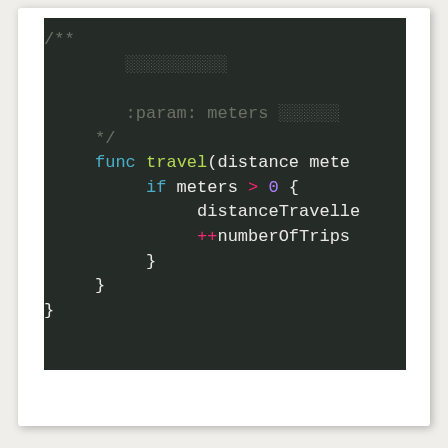[Figure (screenshot): A code editor screenshot on a dark background (#252b26) showing Swift/similar code with syntax highlighting. Shows a docstring comment block with :param: meters annotation, followed by a func travel(distance mete... definition with an if meters > 0 { block containing distanceTravelled and ++numberOfTrips statements, closed with braces.]